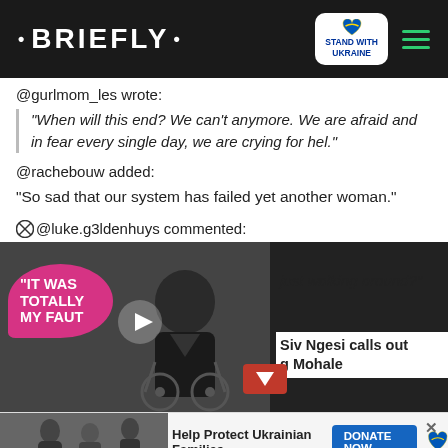• BRIEFLY •
@gurlmom_les wrote:
"When will this end? We can't anymore. We are afraid and in fear every single day, we are crying for hel."
@rachebouw added:
"So sad that our system has failed yet another woman."
@luke.g3ldenhuys commented:
[Figure (screenshot): Video thumbnail with pink bubble label 'IT WAS TOTALLY MY FAULT' and play button, overlaid on image of a man in a wheelchair. Partial quote text 'just walking around?' and side card reading 'Siv Ngesi calls out g Mohale'.]
[Figure (screenshot): Bottom advertisement bar with Ukrainian flag heart icon, text 'Help Protect Ukrainian Families' and blue 'DONATE NOW' button with close X.]